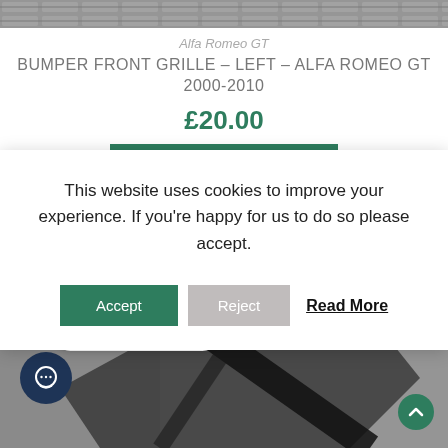[Figure (photo): Top portion of a metallic grille pattern, cropped at the top of the page]
Alfa Romeo GT
BUMPER FRONT GRILLE – LEFT – ALFA ROMEO GT 2000-2010
£20.00
This website uses cookies to improve your experience. If you're happy for us to do so please accept.
Accept   Reject   Read More
[Figure (photo): Bottom section showing a car part (bumper grille) in dark color on a grey background, with a chat bubble saying 'Got any questions?', a dark blue chat icon button, and a green back-to-top arrow button]